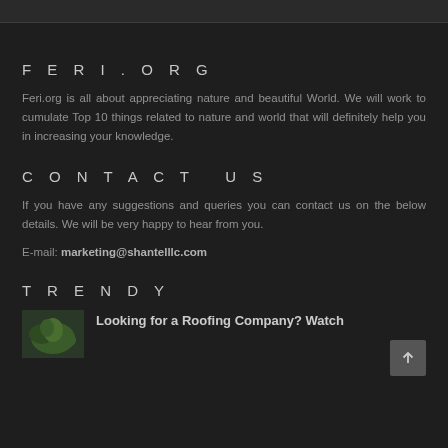FERI.ORG
Feri.org is all about appreciating nature and beautiful World. We will work to cumulate Top 10 things related to nature and world that will definitely help you in increasing your knowledge.
CONTACT US
If you have any suggestions and queries you can contact us on the below details. We will be very happy to hear from you.
E-mail: marketing@shantelllc.com
TRENDY
Looking for a Roofing Company? Watch
[Figure (photo): Small thumbnail photo of green plant/leaves]